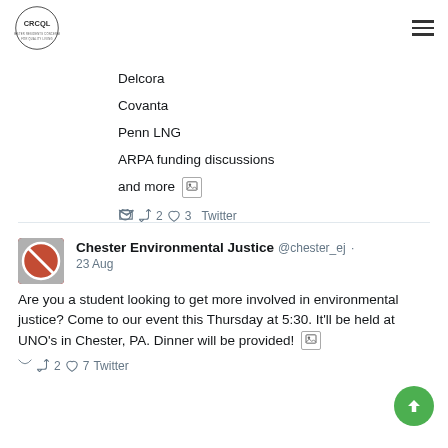CRCQL
Delcora
Covanta
Penn LNG
ARPA funding discussions
and more
2  3  Twitter
[Figure (screenshot): Chester Environmental Justice Twitter profile avatar]
Chester Environmental Justice @chester_ej · 23 Aug
Are you a student looking to get more involved in environmental justice? Come to our event this Thursday at 5:30. It'll be held at UNO's in Chester, PA. Dinner will be provided!
2  7  Twitter